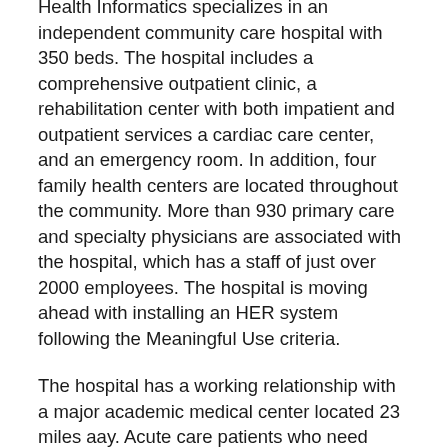Health Informatics specializes in an independent community care hospital with 350 beds. The hospital includes a comprehensive outpatient clinic, a rehabilitation center with both impatient and outpatient services a cardiac care center, and an emergency room. In addition, four family health centers are located throughout the community. More than 930 primary care and specialty physicians are associated with the hospital, which has a staff of just over 2000 employees. The hospital is moving ahead with installing an HER system following the Meaningful Use criteria.
The hospital has a working relationship with a major academic medical center located 23 miles aay. Acute care patients who need more extensive treatment are usually transferred to the medical center. These are often emergency situations and data are freely shared between institutions with